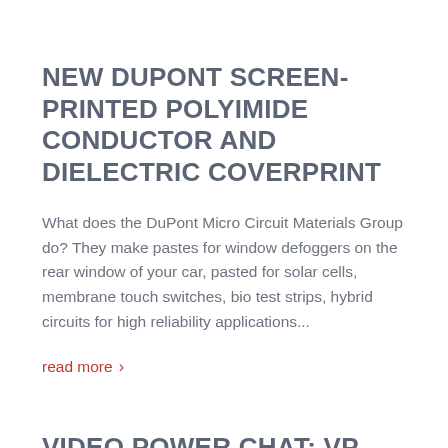NEW DUPONT SCREEN-PRINTED POLYIMIDE CONDUCTOR AND DIELECTRIC COVERPRINT
What does the DuPont Micro Circuit Materials Group do? They make pastes for window defoggers on the rear window of your car, pasted for solar cells, membrane touch switches, bio test strips, hybrid circuits for high reliability applications...
read more ›
VIDEO POWER CHAT: VP